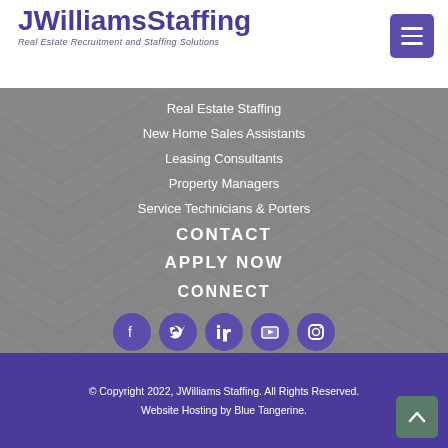JWilliamsStaffing
Real Estate Recruitment and Staffing Solutions
Real Estate Staffing
New Home Sales Assistants
Leasing Consultants
Property Managers
Service Technicians & Porters
CONTACT
APPLY NOW
CONNECT
[Figure (infographic): Social media icons: Facebook, Twitter, LinkedIn, YouTube, Instagram — all in purple circles]
© Copyright 2022, JWilliams Staffing. All Rights Reserved.
Website Hosting by Blue Tangerine.